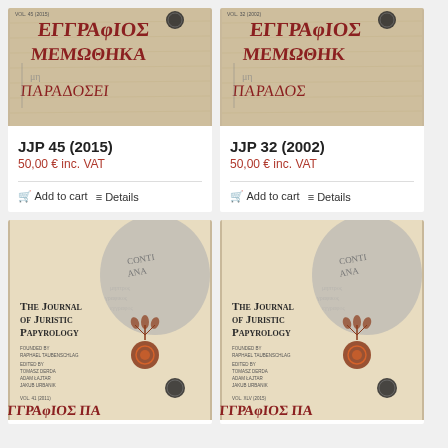[Figure (illustration): Book cover of JJP 45 (2015) showing ancient Greek/papyrus text in red on tan background]
JJP 45 (2015)
50,00 € inc. VAT
Add to cart  Details
[Figure (illustration): Book cover of JJP 32 (2002) showing ancient Greek/papyrus text in red on tan background]
JJP 32 (2002)
50,00 € inc. VAT
Add to cart  Details
[Figure (illustration): Book cover of The Journal of Juristic Papyrology showing title text and decorative ancient motifs]
[Figure (illustration): Book cover of The Journal of Juristic Papyrology showing title text and decorative ancient motifs]